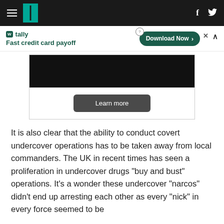HuffPost navigation with hamburger menu, logo, Facebook and Twitter icons
[Figure (screenshot): Tally advertisement banner: 'Fast credit card payoff' with Download Now button]
[Figure (screenshot): Advertisement content box with black image area and 'Learn more' button]
It is also clear that the ability to conduct covert undercover operations has to be taken away from local commanders. The UK in recent times has seen a proliferation in undercover drugs "buy and bust" operations. It's a wonder these undercover "narcos" didn't end up arresting each other as every "nick" in every force seemed to be